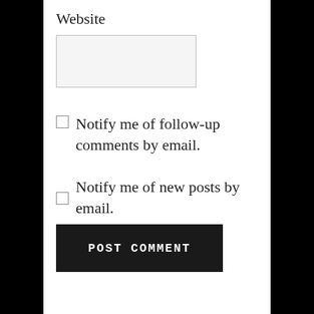Website
Notify me of follow-up comments by email.
Notify me of new posts by email.
POST COMMENT